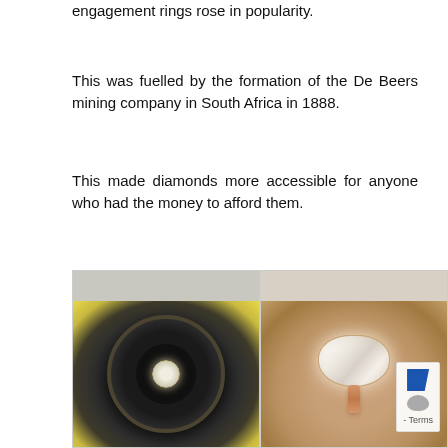engagement rings rose in popularity.
This was fuelled by the formation of the De Beers mining company in South Africa in 1888.
This made diamonds more accessible for anyone who had the money to afford them.
[Figure (photo): Two photos side by side: left shows a vintage diamond engagement ring in a round black box with yellow fabric background; right shows a modern oval diamond ring on a rose gold band with side stones, on a warm beige background.]
- Terms